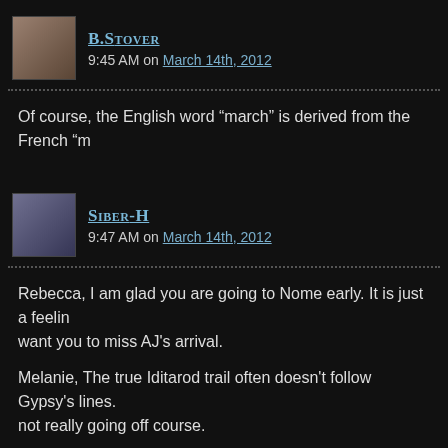[Figure (photo): Avatar photo of B.Stover - person with dark background]
B.Stover
9:45 AM on March 14th, 2012
Of course, the English word “march” is derived from the French “...
[Figure (photo): Avatar photo of Siber-H - husky dog]
Siber-H
9:47 AM on March 14th, 2012
Rebecca, I am glad you are going to Nome early. It is just a feeling... want you to miss AJ's arrival.

Melanie, The true Iditarod trail often doesn't follow Gypsy's lines. ...not really going off course.
[Figure (photo): Avatar photo of OleyHowlers - husky dog]
OleyHowlers
9:51 AM on March 14th, 2012
Yippee!!!! Bee, you came through for us before 10:00, so we win!... sounds a lot like Mush On so that makes sense to us. When Mo...